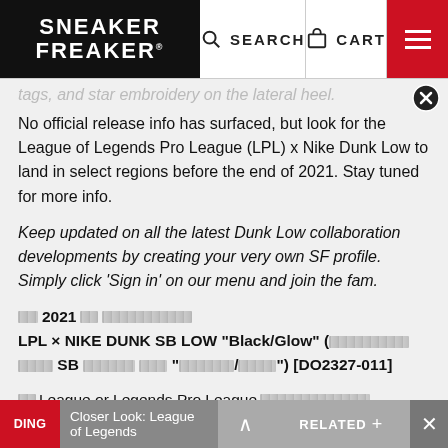SNEAKER FREAKER | SEARCH | CART
tags, and star embroidery on the lateral heel.
No official release info has surfaced, but look for the League of Legends Pro League (LPL) x Nike Dunk Low to land in select regions before the end of 2021. Stay tuned for more info.
Keep updated on all the latest Dunk Low collaboration developments by creating your very own SF profile. Simply click ‘Sign in’ on our menu and join the fam.
2021 [redacted]
LPL × NIKE DUNK SB LOW "Black/Glow" ([redacted] SB [redacted] "[redacted]/[redacted]") [DO2327-011]
League or Legends Pro League [redacted]
DING | Closer Look: League of Legends | ^ | RELATED | +